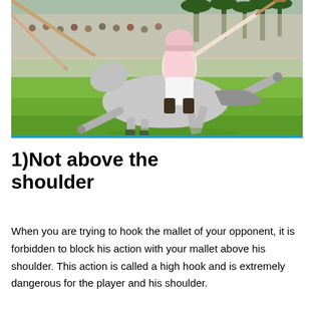[Figure (photo): A polo player on a grey horse swinging a mallet during a polo match, with spectators and palm trees in the background on a green grass field.]
1)Not above the shoulder
When you are trying to hook the mallet of your opponent, it is forbidden to block his action with your mallet above his shoulder. This action is called a high hook and is extremely dangerous for the player and his shoulder.